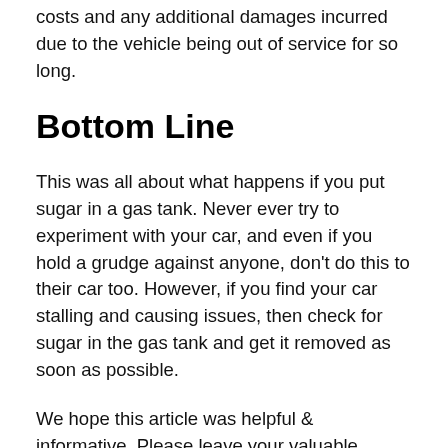offence and demand compensation for the repair costs and any additional damages incurred due to the vehicle being out of service for so long.
Bottom Line
This was all about what happens if you put sugar in a gas tank. Never ever try to experiment with your car, and even if you hold a grudge against anyone, don’t do this to their car too. However, if you find your car stalling and causing issues, then check for sugar in the gas tank and get it removed as soon as possible.
We hope this article was helpful & informative. Please leave your valuable thoughts & suggestions in the comments below!
Thank you for reading!